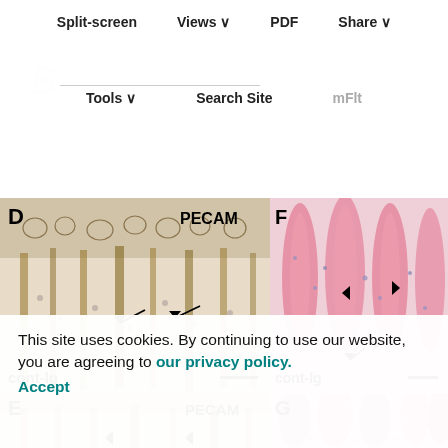Split-screen | Views | PDF | Share | Tools | Search Site
[Figure (photo): Panel D: PECAM immunostained histology section labeled 'cont-Ig' showing vascular structures with arrows indicating specific features. Brown staining on light background.]
[Figure (photo): Panel F: H&E stained histology section labeled 'cont-Ig' showing pink tissue with arrowheads and arrows indicating specific vascular/cellular features.]
[Figure (photo): Panel E: PECAM immunostained histology section, lower panel, with arrowheads indicating features.]
[Figure (photo): Panel G: H&E stained histology section, lower panel, showing pink tissue structures.]
This site uses cookies. By continuing to use our website, you are agreeing to our privacy policy. Accept